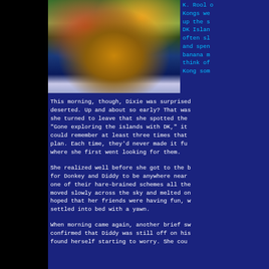[Figure (screenshot): Screenshot from Donkey Kong Country Returns video game showing characters riding on a barrel/vehicle in water with tropical background]
K. Rool o Kongs we up the s DK Islan often sl and spen banana m think of Kong som
This morning, though, Dixie was surprised deserted. Up and about so early? That was she turned to leave that she spotted the "Gone exploring the islands with DK," it could remember at least three times that plan. Each time, they'd never made it fu where she first went looking for them.
She realized well before she got to the b for Donkey and Diddy to be anywhere near one of their hare-brained schemes all the moved slowly across the sky and melted on hoped that her friends were having fun, w settled into bed with a yawn.
When morning came again, another brief sw confirmed that Diddy was still off on his found herself starting to worry. She cou